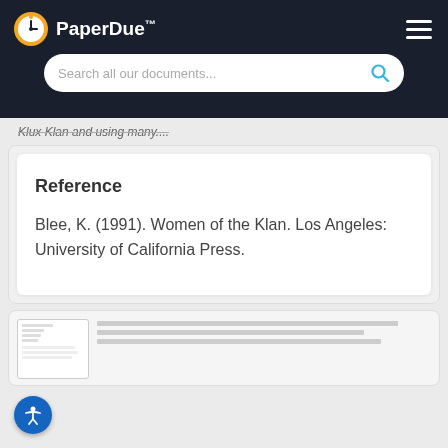PaperDue™
Klux Klan and using many....
Reference
Blee, K. (1991). Women of the Klan. Los Angeles: University of California Press.
[Figure (screenshot): Preview thumbnail of a document page]